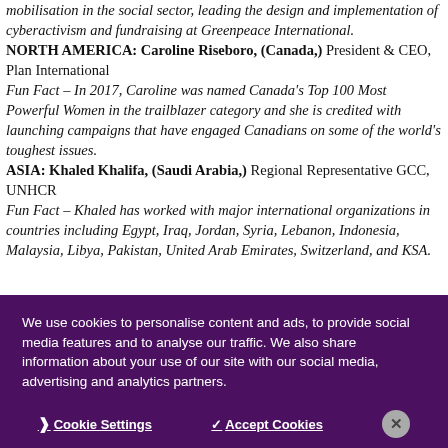mobilisation in the social sector, leading the design and implementation of cyberactivism and fundraising at Greenpeace International.
NORTH AMERICA: Caroline Riseboro, (Canada,) President & CEO, Plan International
Fun Fact – In 2017, Caroline was named Canada's Top 100 Most Powerful Women in the trailblazer category and she is credited with launching campaigns that have engaged Canadians on some of the world's toughest issues.
ASIA: Khaled Khalifa, (Saudi Arabia,) Regional Representative GCC, UNHCR
Fun Fact – Khaled has worked with major international organizations in countries including Egypt, Iraq, Jordan, Syria, Lebanon, Indonesia, Malaysia, Libya, Pakistan, United Arab Emirates, Switzerland, and KSA.
We use cookies to personalise content and ads, to provide social media features and to analyse our traffic. We also share information about your use of our site with our social media, advertising and analytics partners.
Cookie Settings | Accept Cookies | ×